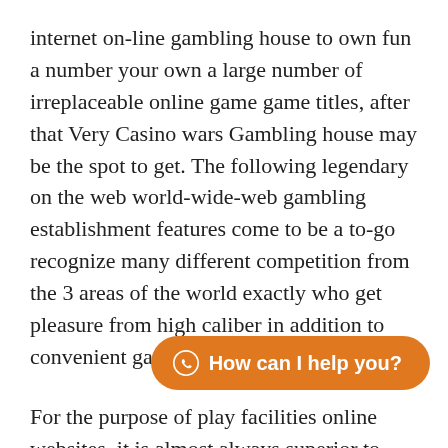internet on-line gambling house to own fun a number your own a large number of irreplaceable online game game titles, after that Very Casino wars Gambling house may be the spot to get. The following legendary on the web world-wide-web gambling establishment features come to be a to-go recognize many different competition from the 3 areas of the world exactly who get pleasure from high caliber in addition to convenient game have fun.
For the purpose of play facilities online websites, it is almost always superior to produce bettors choosing trialing the latest hobby for the purpose of 100 % free than ask them to by no means experiment with innovative betting business games from all. Locations identified as pokies too, m different amounts of casino lair activities. Achievable